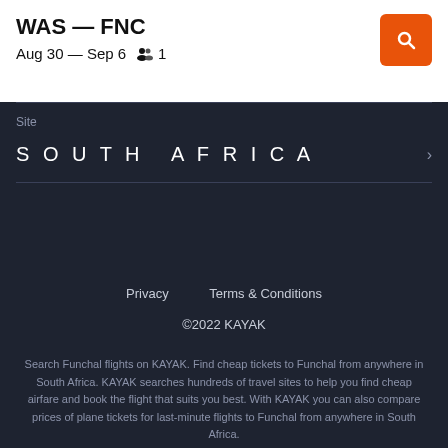WAS — FNC
Aug 30 — Sep 6   👥 1
Site
SOUTH AFRICA
Privacy   Terms & Conditions
©2022 KAYAK
Search Funchal flights on KAYAK. Find cheap tickets to Funchal from anywhere in South Africa. KAYAK searches hundreds of travel sites to help you find cheap airfare and book the flight that suits you best. With KAYAK you can also compare prices of plane tickets for last-minute flights to Funchal from anywhere in South Africa.